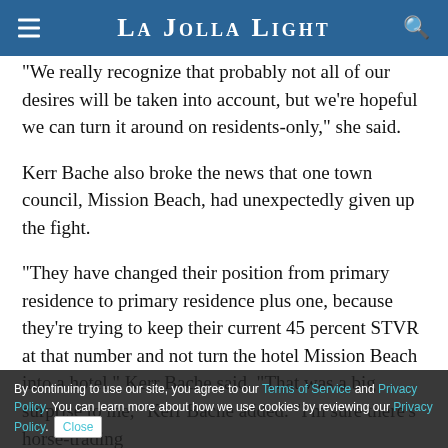La Jolla Light
“We really recognize that probably not all of our desires will be taken into account, but we’re hopeful we can turn it around on residents-only,” she said.
Kerr Bache also broke the news that one town council, Mission Beach, had unexpectedly given up the fight.
“They have changed their position from primary residence to primary residence plus one, because they’re trying to keep their current 45 percent STVR at that number and not turn the hotel Mission Beach into a hotel,” Kerr Bache said. “That was a big surprise to me,” Kerr Bache added. “I’m sure there’s horse-trading at the
By continuing to use our site, you agree to our Terms of Service and Privacy Policy. You can learn more about how we use cookies by reviewing our Privacy Policy. Close